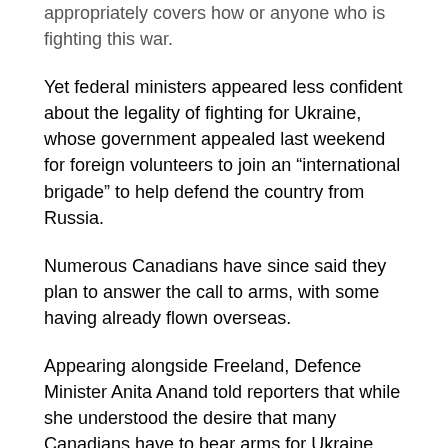appropriately covers how or anyone who is fighting this war.
Yet federal ministers appeared less confident about the legality of fighting for Ukraine, whose government appealed last weekend for foreign volunteers to join an “international brigade” to help defend the country from Russia.
Numerous Canadians have since said they plan to answer the call to arms, with some having already flown overseas.
Appearing alongside Freeland, Defence Minister Anita Anand told reporters that while she understood the desire that many Canadians have to bear arms for Ukraine, “the legalities of the situation … are indeterminant at this time.”
The federal government had previously avoided directly addressing the legality of Canadians fighting in Ukraine, or whether it supports those who want to do so. Federal ministers instead couched the issue as a matter of personal risk.
That stood in stark contrast to the United Kingdom and Australia, whose governments have noted the potential legal issues that their citizens could face if they fight in a conflict that does not involve their countries.
Anand instead encouraged people to enlist with the Canadian Armed Forces, which has launched a new recruitment drive as it